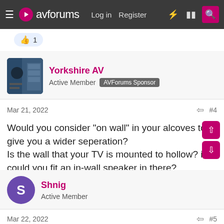avforums  Log in  Register
1
Yorkshire AV
Active Member  AVForums Sponsor
Mar 21, 2022  #4
Would you consider "on wall" in your alcoves to give you a wider seperation?
Is the wall that your TV is mounted to hollow? i.e. could you fit an in-wall speaker in there?
1
Shnig
Active Member
Mar 22, 2022  #5